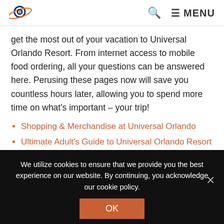[Logo] Q MENU
get the most out of your vacation to Universal Orlando Resort. From internet access to mobile food ordering, all your questions can be answered here. Perusing these pages now will save you countless hours later, allowing you to spend more time on what's important – your trip!
Shopping & Merchandise at Universal Orlando
Ultimate Adult's Guide to Universal Orlando Resort
Visiting USF with Kids – Complete Insider's Guide
Visiting IOA with Kids – Complete Insider's Guide
Visiting VB with Kids – Complete Insider's Guide
We utilize cookies to ensure that we provide you the best experience on our website. By continuing, you acknowledge our cookie policy.